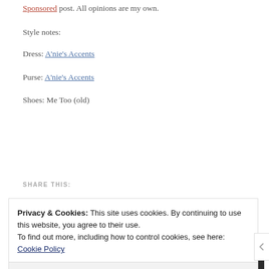Sponsored post. All opinions are my own.
Style notes:
Dress: A'nie's Accents
Purse: A'nie's Accents
Shoes: Me Too (old)
SHARE THIS:
Privacy & Cookies: This site uses cookies. By continuing to use this website, you agree to their use.
To find out more, including how to control cookies, see here: Cookie Policy
Close and accept